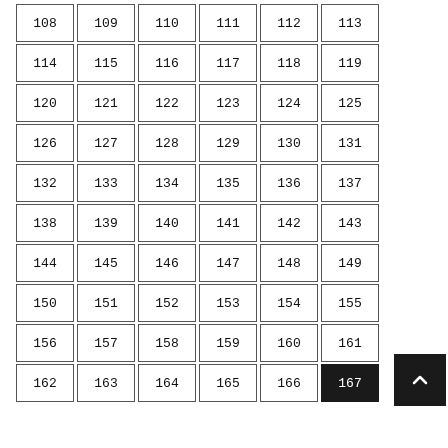| 108 | 109 | 110 | 111 | 112 | 113 |
| 114 | 115 | 116 | 117 | 118 | 119 |
| 120 | 121 | 122 | 123 | 124 | 125 |
| 126 | 127 | 128 | 129 | 130 | 131 |
| 132 | 133 | 134 | 135 | 136 | 137 |
| 138 | 139 | 140 | 141 | 142 | 143 |
| 144 | 145 | 146 | 147 | 148 | 149 |
| 150 | 151 | 152 | 153 | 154 | 155 |
| 156 | 157 | 158 | 159 | 160 | 161 |
| 162 | 163 | 164 | 165 | 166 | 167 |